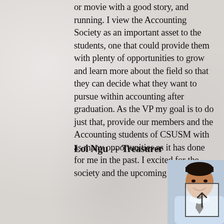or movie with a good story, and running. I view the Accounting Society as an important asset to the students, one that could provide them with plenty of opportunities to grow and learn more about the field so that they can decide what they want to pursue within accounting after graduation. As the VP my goal is to do just that, provide our members and the Accounting students of CSUSM with as many opportunities as it has done for me in the past. I excited for the society and the upcoming semester!
Loi Ngu → Treasurer
[Figure (photo): Portrait photo of Loi Ngu, a young man in a light blue shirt and dark tie, smiling]